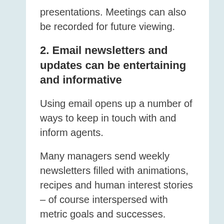presentations. Meetings can also be recorded for future viewing.
2. Email newsletters and updates can be entertaining and informative
Using email opens up a number of ways to keep in touch with and inform agents.
Many managers send weekly newsletters filled with animations, recipes and human interest stories – of course interspersed with metric goals and successes.